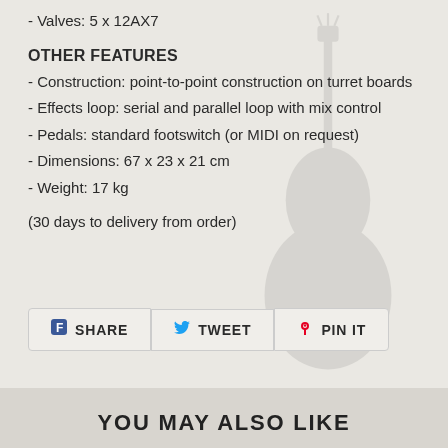- Valves: 5 x 12AX7
OTHER FEATURES
- Construction: point-to-point construction on turret boards
- Effects loop: serial and parallel loop with mix control
- Pedals: standard footswitch (or MIDI on request)
- Dimensions: 67 x 23 x 21 cm
- Weight: 17 kg
(30 days to delivery from order)
SHARE  TWEET  PIN IT
YOU MAY ALSO LIKE
[Figure (photo): Product card showing guitar amplifier 1]
[Figure (photo): Product card showing guitar amplifier 2]